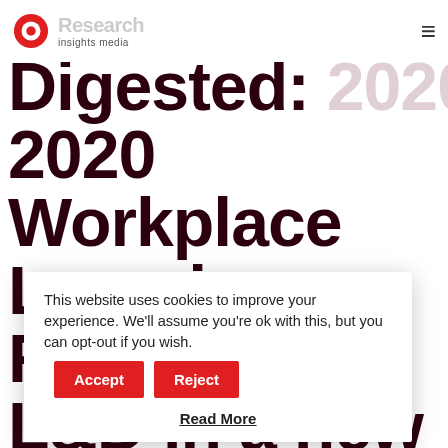Research insights media
Digested: 2020 Workplace Learning Report. L&D in a new lifelong Learning
This website uses cookies to improve your experience. We'll assume you're ok with this, but you can opt-out if you wish. Accept Reject Read More